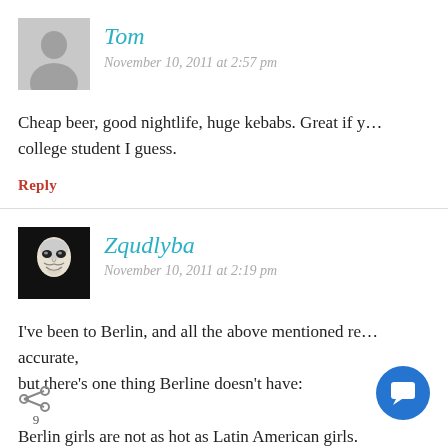Tom
November 10, 2011 at 2:57 pm
Cheap beer, good nightlife, huge kebabs. Great if you're a college student I guess.
Reply
Zqudlyba
November 10, 2011 at 2:19 pm
I've been to Berlin, and all the above mentioned re... accurate, but there's one thing Berline doesn't have: Berlin girls are not as hot as Latin American girls.
My proof? Who has won the most Miss U.../M... competition? I rest my case.